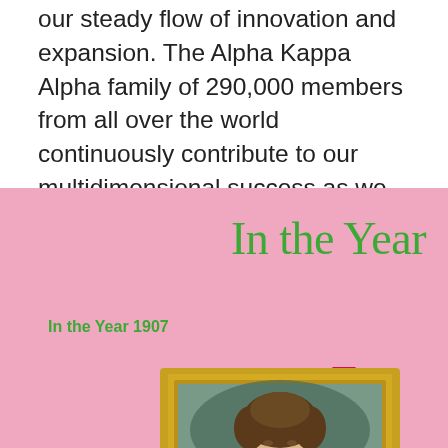our steady flow of innovation and expansion. The Alpha Kappa Alpha family of 290,000 members from all over the world continuously contribute to our multidimensional success as we embrace new milestones in service to humankind.
In the Year
In the Year 1907
In the
[Figure (photo): A framed portrait painting of a person with dark hair, displayed in a gold frame, against a pink background.]